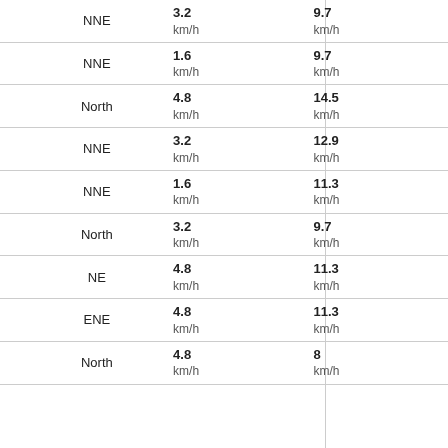| Time | Temp | Dew Point | Pressure | Wind Dir | Wind Speed | Wind Gust |
| --- | --- | --- | --- | --- | --- | --- |
| 10:50 | 30.3 °C | 19.7 °C | 1017.5 hPa | NNE | 3.2 km/h | 9.7 km/h |
| 11:00 | 30.6 °C | 19.6 °C | 1017.5 hPa | NNE | 1.6 km/h | 9.7 km/h |
| 11:10 | 31.1 °C | 19.1 °C | 1017.2 hPa | North | 4.8 km/h | 14.5 km/h |
| 11:20 | 31.4 °C | 18.7 °C | 1017.2 hPa | NNE | 3.2 km/h | 12.9 km/h |
| 11:30 | 31.8 °C | 18.4 °C | 1017.2 hPa | NNE | 1.6 km/h | 11.3 km/h |
| 11:40 | 32 °C | 18.6 °C | 1017.2 hPa | North | 3.2 km/h | 9.7 km/h |
| 11:50 | 32.4 °C | 18.9 °C | 1017.2 hPa | NE | 4.8 km/h | 11.3 km/h |
| 12:00 | 32.8 °C | 18.9 °C | 1017.2 hPa | ENE | 4.8 km/h | 11.3 km/h |
| 12:10 | 32.9 °C | 18.3 °C | 1017.2 hPa | North | 4.8 km/h | 8 km/h |